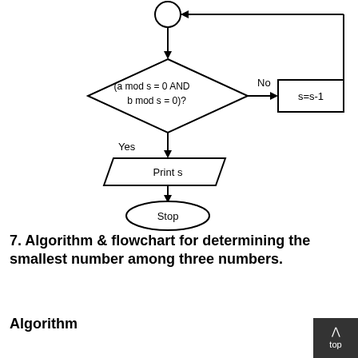[Figure (flowchart): Flowchart showing a loop: a circle (connector) at top connects down to a diamond decision box '(a mod s = 0 AND b mod s = 0)?'. The 'No' branch goes right to a rectangle 's=s-1', which loops back up to the connector. The 'Yes' branch goes down (labeled 'Yes') to a parallelogram 'Print s', then to an oval 'Stop'.]
7. Algorithm & flowchart for determining the smallest number among three numbers.
Algorithm